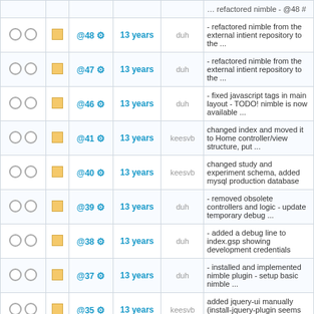|  |  | Rev | Age | Author | Message |
| --- | --- | --- | --- | --- | --- |
| ○ ○ | ■ | @48 ⚙ | 13 years | duh | - refactored nimble from the external intient repository to the ... |
| ○ ○ | ■ | @47 ⚙ | 13 years | duh | - refactored nimble from the external intient repository to the ... |
| ○ ○ | ■ | @46 ⚙ | 13 years | duh | - fixed javascript tags in main layout - TODO! nimble is now available ... |
| ○ ○ | ■ | @41 ⚙ | 13 years | keesvb | changed index and moved it to Home controller/view structure, put ... |
| ○ ○ | ■ | @40 ⚙ | 13 years | keesvb | changed study and experiment schema, added mysql production database |
| ○ ○ | ■ | @39 ⚙ | 13 years | duh | - removed obsolete controllers and logic - update temporary debug ... |
| ○ ○ | ■ | @38 ⚙ | 13 years | duh | - added a debug line to index.gsp showing development credentials |
| ○ ○ | ■ | @37 ⚙ | 13 years | duh | - installed and implemented nimble plugin - setup basic nimble ... |
| ○ ○ | ■ | @35 ⚙ | 13 years | keesvb | added jquery-ui manually (install-jquery-plugin seems broken) and ... |
| ○ ○ | ■ | @29 ⚙ | 13 years | duh | - created configurable styles (handled in conf/BaseFilters.groovy) - ... |
| ○ ○ | ■ |  |  |  | -changed CSS from absolute to |